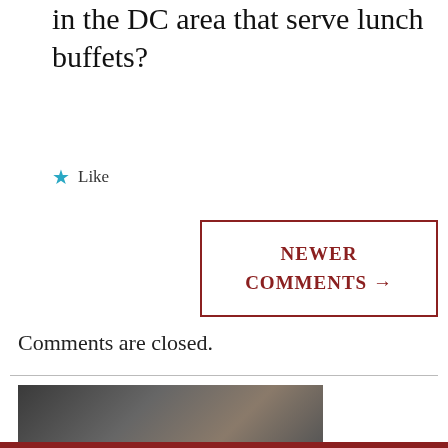in the DC area that serve lunch buffets?
★ Like
NEWER COMMENTS →
Comments are closed.
[Figure (photo): Partial photo visible at bottom of page, dark blurred image]